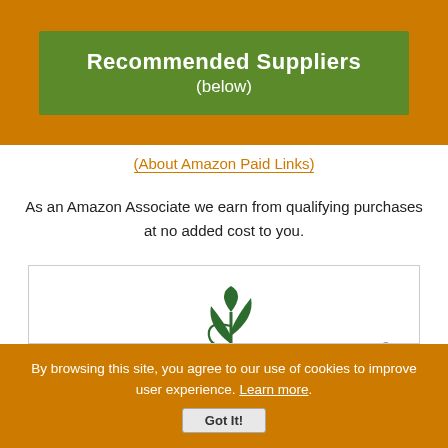Recommended Suppliers (below)
(About Amazon Paid Links)
As an Amazon Associate we earn from qualifying purchases at no added cost to you.
[Figure (logo): Herb Pharm logo with caduceus-style plant symbol, green text, and 'HERBAL HEALTHCARE PRODUCTS' in orange below a green divider line]
By browsing this site, you agree to our use of cookies to improve user experience. Learn more. Got It!